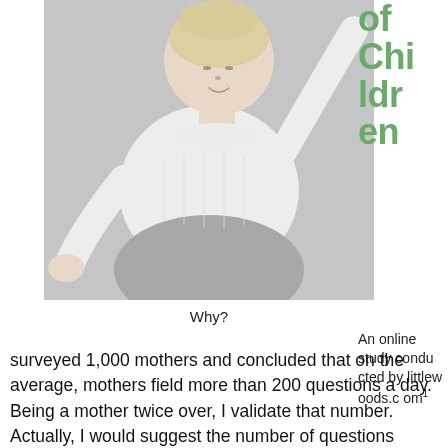[Figure (photo): A young child with light blonde hair sitting cross-legged, wearing a white knit sweater and grey pants, reaching one hand out toward the camera against a light grey background.]
of Children
An online study conducted by littlewoods.com¹
Why?
surveyed 1,000 mothers and concluded that on the average, mothers field more than 200 questions a day. Being a mother twice over, I validate that number. Actually, I would suggest the number of questions asked